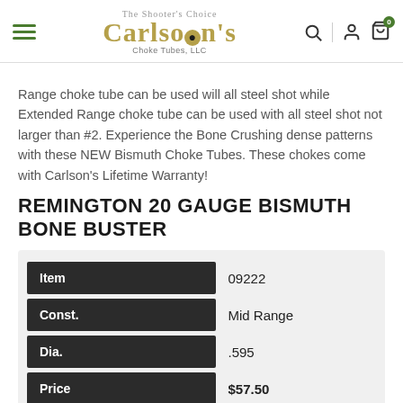Carlson's Choke Tubes, LLC
Range choke tube can be used will all steel shot while Extended Range choke tube can be used with all steel shot not larger than #2. Experience the Bone Crushing dense patterns with these NEW Bismuth Choke Tubes. These chokes come with Carlson's Lifetime Warranty!
REMINGTON 20 GAUGE BISMUTH BONE BUSTER
|  |  |
| --- | --- |
| Item | 09222 |
| Const. | Mid Range |
| Dia. | .595 |
| Price | $57.50 |